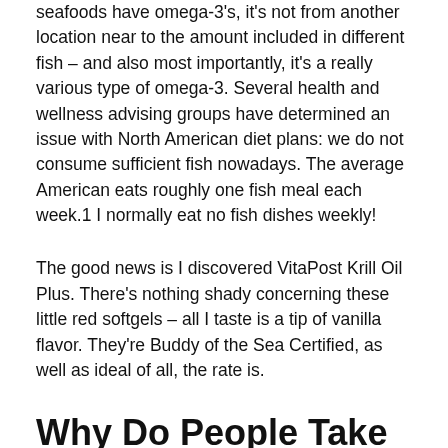seafoods have omega-3's, it's not from another location near to the amount included in different fish – and also most importantly, it's a really various type of omega-3. Several health and wellness advising groups have determined an issue with North American diet plans: we do not consume sufficient fish nowadays. The average American eats roughly one fish meal each week.1 I normally eat no fish dishes weekly!
The good news is I discovered VitaPost Krill Oil Plus. There's nothing shady concerning these little red softgels – all I taste is a tip of vanilla flavor. They're Buddy of the Sea Certified, as well as ideal of all, the rate is.
Why Do People Take